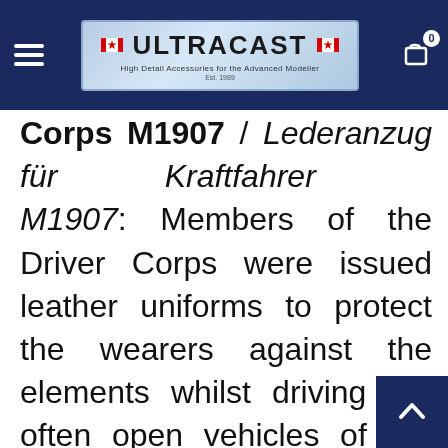ULTRACAST — High Detail Accessories for the Advanced Modeller
Corps M1907 / Lederanzug für Kraftfahrer M1907: Members of the Driver Corps were issued leather uniforms to protect the wearers against the elements whilst driving the often open vehicles of the time. There seems to be a number of differences these leather jackets with